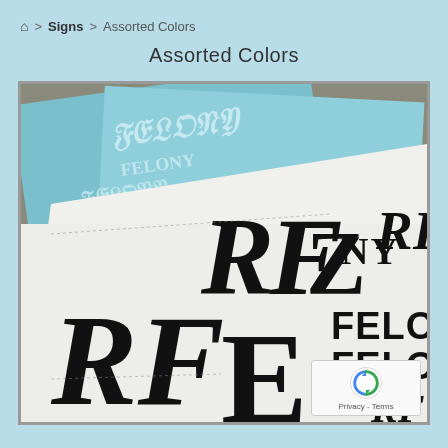🏠 > Signs > Assorted Colors
Assorted Colors
[Figure (photo): Photo of printed sign sheets showing large black decorative blackletter/gothic style lettering spelling 'FELONY' and initials 'RF' in various sizes on white paper, with teal/light blue versions visible in the background. Multiple overlapping sheets on a table.]